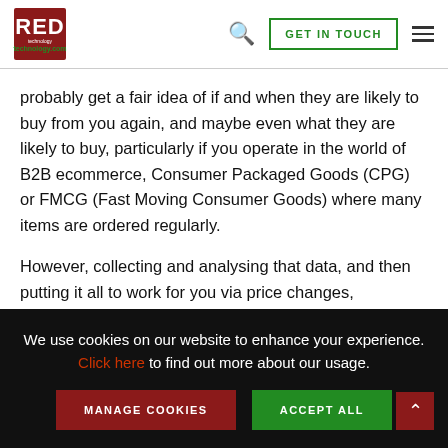RED technology.com — GET IN TOUCH
probably get a fair idea of if and when they are likely to buy from you again, and maybe even what they are likely to buy, particularly if you operate in the world of B2B ecommerce, Consumer Packaged Goods (CPG) or FMCG (Fast Moving Consumer Goods) where many items are ordered regularly.
However, collecting and analysing that data, and then putting it all to work for you via price changes,
We use cookies on our website to enhance your experience. Click here to find out more about our usage.
MANAGE COOKIES    ACCEPT ALL